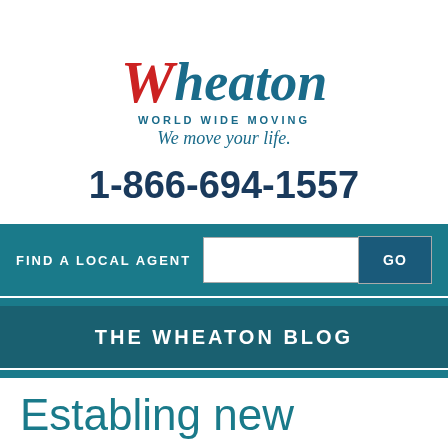[Figure (logo): Wheaton World Wide Moving logo with tagline 'We move your life.']
1-866-694-1557
FIND A LOCAL AGENT  GO
THE WHEATON BLOG
Establing new roots